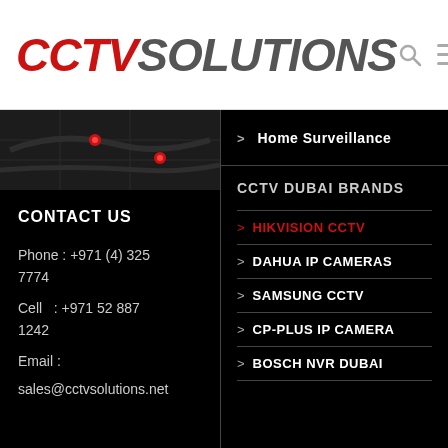[Figure (logo): CCTV Solutions logo - CCTV in red italic bold, SOLUTIONS in gray italic bold]
[Figure (screenshot): Top portion of map image showing dark map with location pins, partially visible]
CONTACT US
Phone : +971 (4) 325 7774
Cell   : +971 52 887 1242
Email :
sales@cctvsolutions.net
> Home Surveillance
CCTV DUBAI BRANDS
> HIKVISION CCTV
> DAHUA IP CAMERAS
> SAMSUNG CCTV
> CP-PLUS IP CAMERA
> BOSCH NVR DUBAI